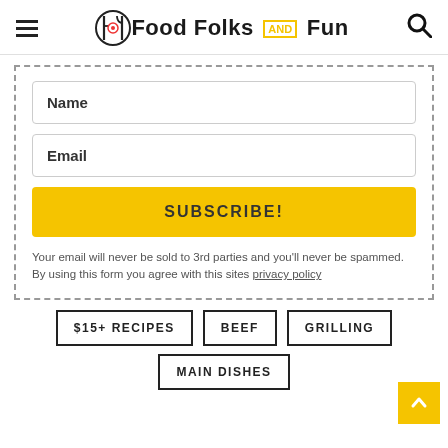Food Folks and Fun
Name
Email
SUBSCRIBE!
Your email will never be sold to 3rd parties and you'll never be spammed. By using this form you agree with this sites privacy policy
$15+ RECIPES
BEEF
GRILLING
MAIN DISHES